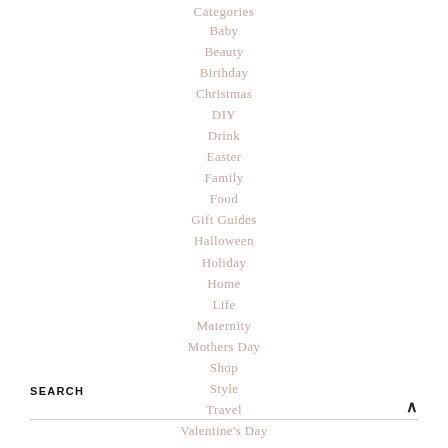Categories
Baby
Beauty
Birthday
Christmas
DIY
Drink
Easter
Family
Food
Gift Guides
Halloween
Holiday
Home
Life
Maternity
Mothers Day
Shop
Style
Travel
Valentine's Day
SEARCH